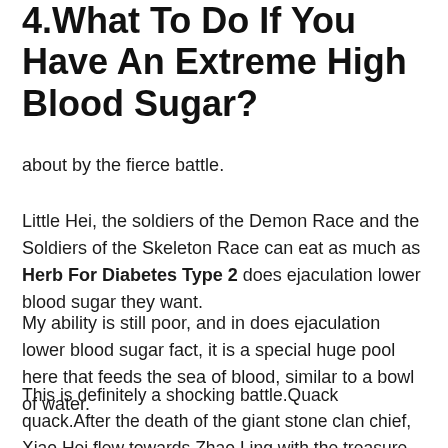4.What To Do If You Have An Extreme High Blood Sugar?
about by the fierce battle.
Little Hei, the soldiers of the Demon Race and the Soldiers of the Skeleton Race can eat as much as Herb For Diabetes Type 2 does ejaculation lower blood sugar they want.
My ability is still poor, and in does ejaculation lower blood sugar fact, it is a special huge pool here that feeds the sea of blood, similar to a bowl of water.
This is definitely a shocking battle.Quack quack.After the death of the giant stone clan chief, Xiao Hei flew towards Zhao Ling with the treasure.
If you offend my master, you are destined to die.This guy also